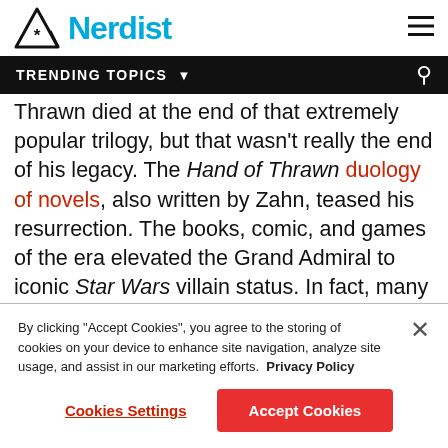Nerdist
TRENDING TOPICS
Thrawn died at the end of that extremely popular trilogy, but that wasn't really the end of his legacy. The Hand of Thrawn duology of novels, also written by Zahn, teased his resurrection. The books, comic, and games of the era elevated the Grand Admiral to iconic Star Wars villain status. In fact, many fans didn't view him as a villain at all, but more of a complicated antihero. It was really hard to totally hate Thrawn, even at his worst. And if you did hate
By clicking "Accept Cookies", you agree to the storing of cookies on your device to enhance site navigation, analyze site usage, and assist in our marketing efforts. Privacy Policy
Cookies Settings
Accept Cookies